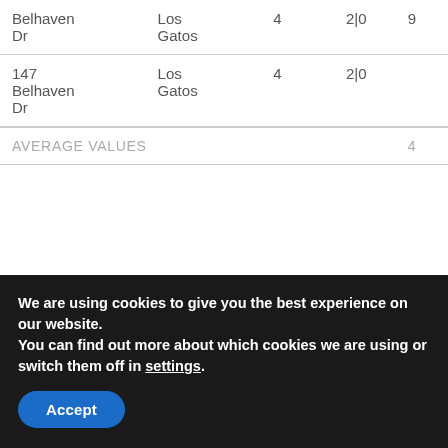| Address | City | Beds | Baths | Price |
| --- | --- | --- | --- | --- |
| Belhaven Dr | Los Gatos | 4 | 2|0 | 9... |
| 147 Belhaven Dr | Los Gatos | 4 | 2|0 |  |
| AVERAGE VALUES |  |  |  | 4... |
We are using cookies to give you the best experience on our website.
You can find out more about which cookies we are using or switch them off in settings.